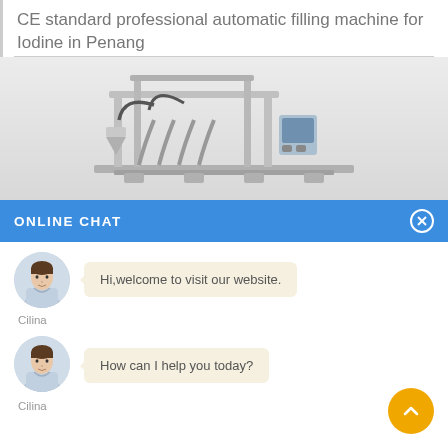CE standard professional automatic filling machine for Iodine in Penang
[Figure (photo): Photo of a professional automatic filling machine, stainless steel, with multiple nozzles and tubes, on white/grey background]
ONLINE CHAT
[Figure (photo): Avatar of chat agent named Cilina - woman in light blue shirt]
Hi,welcome to visit our website.
Cilina
[Figure (photo): Avatar of chat agent named Cilina - woman in light blue shirt]
How can I help you today?
Cilina